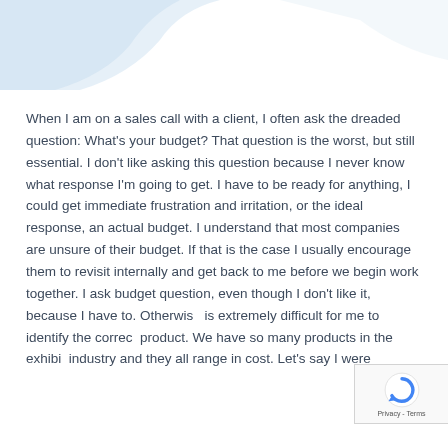[Figure (illustration): Light blue/grey decorative geometric shape in the top-left corner of the page]
When I am on a sales call with a client, I often ask the dreaded question: What's your budget? That question is the worst, but still essential. I don't like asking this question because I never know what response I'm going to get. I have to be ready for anything, I could get immediate frustration and irritation, or the ideal response, an actual budget. I understand that most companies are unsure of their budget. If that is the case I usually encourage them to revisit internally and get back to me before we begin work together. I ask budget question, even though I don't like it, because I have to. Otherwise is extremely difficult for me to identify the correct product. We have so many products in the exhibit industry and they all range in cost. Let's say I were
[Figure (logo): reCAPTCHA badge with circular arrow logo and 'Privacy - Terms' text]